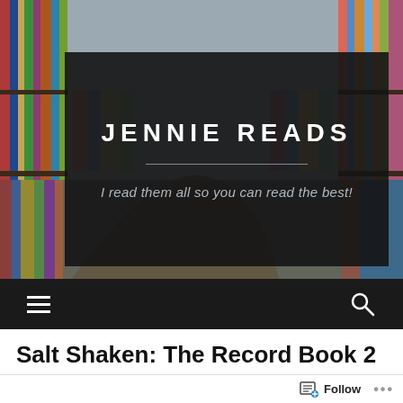[Figure (screenshot): Blog website header for 'Jennie Reads' — a bookshelf photo background with a dark semi-transparent overlay box containing the site title 'JENNIE READS', a horizontal divider, and tagline 'I read them all so you can read the best!'. Below the header image is a dark navigation bar with a hamburger menu icon on the left and a search icon on the right.]
Salt Shaken: The Record Book 2
by [author name]